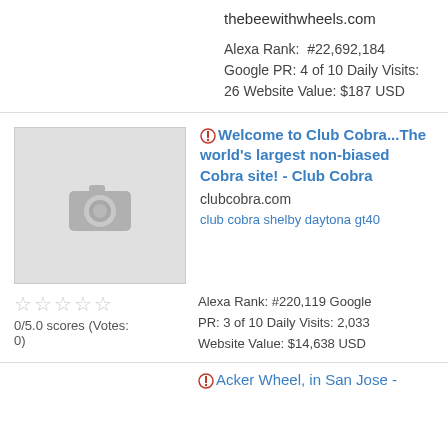thebeewithwheels.com
Alexa Rank: #22,692,184 Google PR: 4 of 10 Daily Visits: 26 Website Value: $187 USD
[Figure (photo): Placeholder thumbnail with camera icon]
Welcome to Club Cobra...The world's largest non-biased Cobra site! - Club Cobra
clubcobra.com
club cobra shelby daytona gt40
0/5.0 scores (Votes: 0)
Alexa Rank: #220,119 Google PR: 3 of 10 Daily Visits: 2,033 Website Value: $14,638 USD
Acker Wheel, in San Jose -